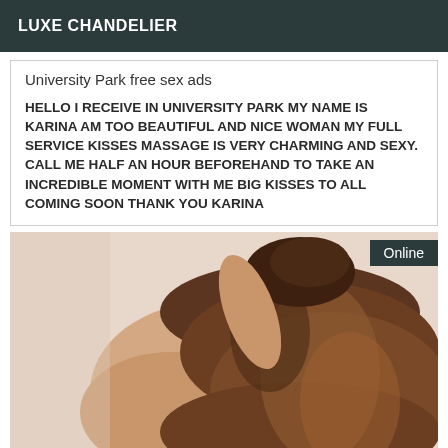LUXE CHANDELIER
University Park free sex ads
HELLO I RECEIVE IN UNIVERSITY PARK MY NAME IS KARINA AM TOO BEAUTIFUL AND NICE WOMAN MY FULL SERVICE KISSES MASSAGE IS VERY CHARMING AND SEXY. CALL ME HALF AN HOUR BEFOREHAND TO TAKE AN INCREDIBLE MOMENT WITH ME BIG KISSES TO ALL COMING SOON THANK YOU KARINA
[Figure (photo): Woman with long brown hair viewed from behind, with an 'Online' badge overlay in top right corner]